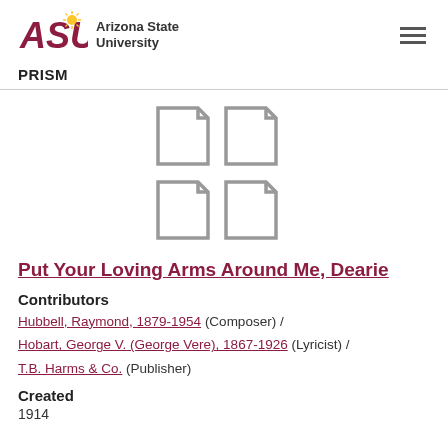ASU Arizona State University | PRISM
[Figure (illustration): Four document/file icons arranged in a 2x2 grid, gray outlined style]
Put Your Loving Arms Around Me, Dearie
Contributors
Hubbell, Raymond, 1879-1954 (Composer) / Hobart, George V. (George Vere), 1867-1926 (Lyricist) / T.B. Harms & Co. (Publisher)
Created
1914